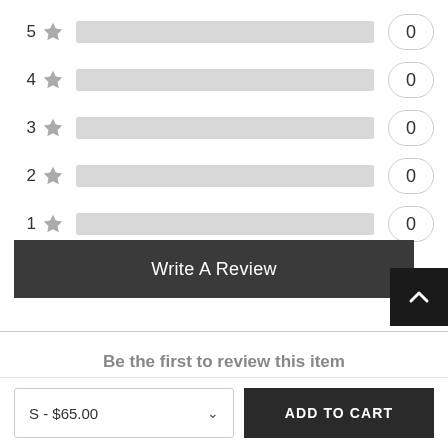[Figure (other): Star rating distribution bar chart showing 5 ratings (5 star to 1 star), each with a gray progress bar and a count of 0]
Write A Review
Be the first to review this item
S - $65.00
ADD TO CART